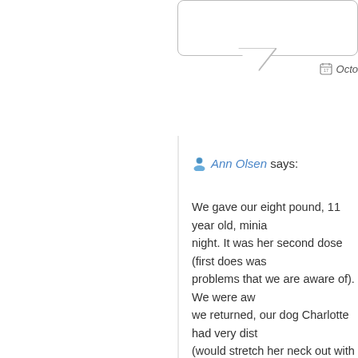[Figure (other): Speech bubble / comment box at top of page, partially visible]
Oct
Ann Olsen says:
We gave our eight pound, 11 year old, minia night. It was her second dose (first does was problems that we are aware of). We were aw we returned, our dog Charlotte had very dist (would stretch her neck out with head held h twitching, lethargic, confused, uncoordinate communicating and interacting with us (paw active, runs around, sits in certain spots). Sh and continued the crowing of her neck with were terrified. We called poison control and 10 pm. Poison Control said that the reported don't believe this is due to Trifexis. The react internet do not sound mild. I have no idea if competitors but come on!!!Some of what we and similar to what was happening to Char